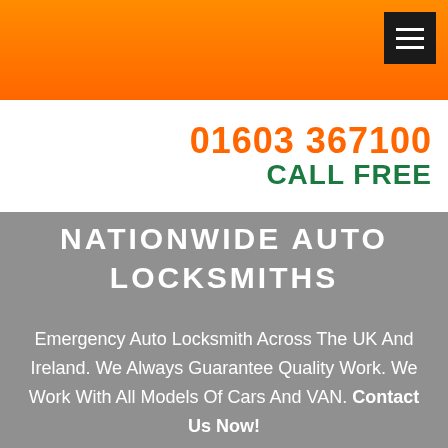[Figure (screenshot): Hamburger menu icon button with three white horizontal lines on a dark background]
01603 367100
CALL FREE
NATIONWIDE AUTO LOCKSMITHS
Emergency Auto Locksmith Across The UK And Ireland. We Always Guarantee Quality Work. We Work With All Models Of Cars And VAN. Contact Us Now!